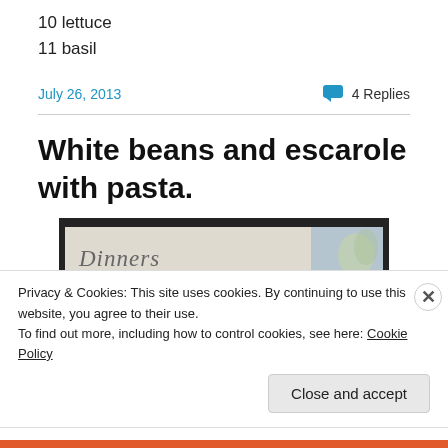10 lettuce
11 basil
July 26, 2013   4 Replies
White beans and escarole with pasta.
[Figure (photo): A framed chalkboard or notebook with the word 'Dinners' written in cursive, with a floral decorative element on the right side.]
Privacy & Cookies: This site uses cookies. By continuing to use this website, you agree to their use.
To find out more, including how to control cookies, see here: Cookie Policy
Close and accept